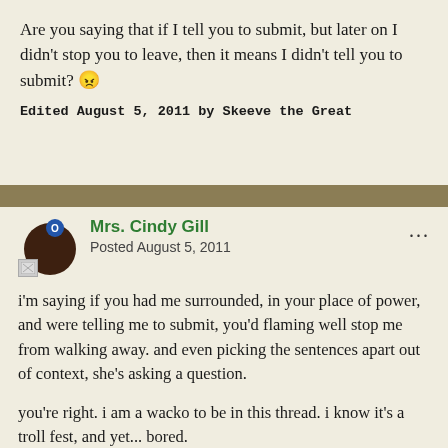Are you saying that if I tell you to submit, but later on I didn't stop you to leave, then it means I didn't tell you to submit? 😠
Edited August 5, 2011 by Skeeve the Great
Mrs. Cindy Gill
Posted August 5, 2011
i'm saying if you had me surrounded, in your place of power, and were telling me to submit, you'd flaming well stop me from walking away. and even picking the sentences apart out of context, she's asking a question.
you're right. i am a wacko to be in this thread. i know it's a troll fest, and yet... bored.